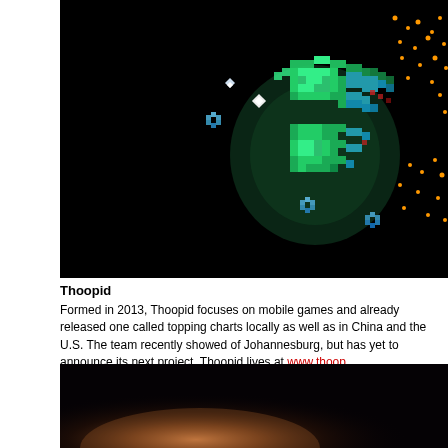[Figure (screenshot): Dark space-themed mobile game screenshot showing a pixelated green spaceship/robot figure made of glowing green and blue square pixels against a black background, with small orange dots scattered around and smaller pixel ships nearby]
Thoopid
Formed in 2013, Thoopid focuses on mobile games and already released one called topping charts locally as well as in China and the U.S. The team recently showed of Johannesburg, but has yet to announce its next project. Thoopid lives at www.thoop
[Figure (photo): Bottom portion of a dark image with warm glowing light in the lower center, appearing to show light effects or an explosion against a very dark background]